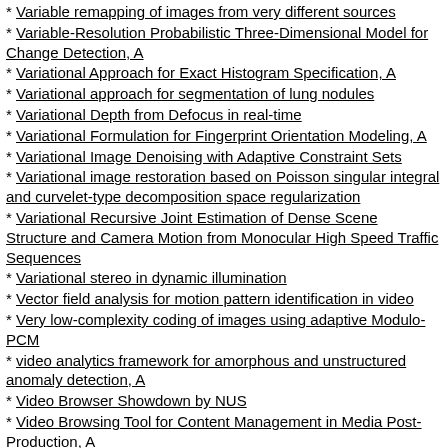Variable remapping of images from very different sources
Variable-Resolution Probabilistic Three-Dimensional Model for Change Detection, A
Variational Approach for Exact Histogram Specification, A
Variational approach for segmentation of lung nodules
Variational Depth from Defocus in real-time
Variational Formulation for Fingerprint Orientation Modeling, A
Variational Image Denoising with Adaptive Constraint Sets
Variational image restoration based on Poisson singular integral and curvelet-type decomposition space regularization
Variational Recursive Joint Estimation of Dense Scene Structure and Camera Motion from Monocular High Speed Traffic Sequences
Variational stereo in dynamic illumination
Vector field analysis for motion pattern identification in video
Very low-complexity coding of images using adaptive Modulo-PCM
video analytics framework for amorphous and unstructured anomaly detection, A
Video Browser Showdown by NUS
Video Browsing Tool for Content Management in Media Post-Production, A
Video Browsing with a 3D Thumbnail Ring Arranged by